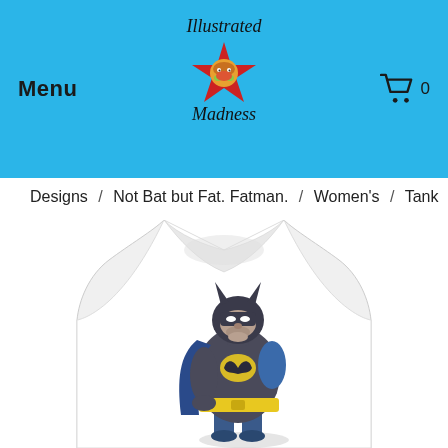Menu  |  Illustrated Madness logo  |  Cart 0
Designs / Not Bat but Fat. Fatman. / Women's / Tank
[Figure (photo): White women's racerback tank top with a humorous illustration of a fat Batman character standing in his costume with a cape, rendered on a white background.]